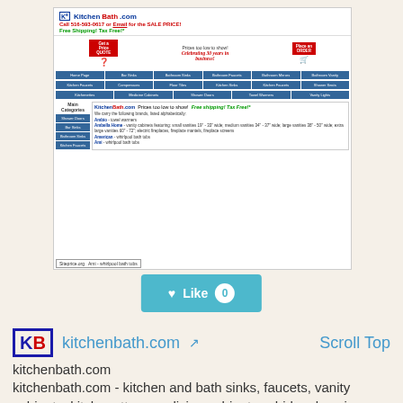[Figure (screenshot): Screenshot of KitchenBath.com website showing header with logo, phone number, navigation menus, and product categories listing including brands like Ambio, Ambella Home, and American whirlpool bath tubs. A Siteprice.org watermark is visible at the bottom.]
[Figure (other): Teal Like button with heart icon and count of 0]
kitchenbath.com
kitchenbath.com - kitchen and bath sinks, faucets, vanity cabinets, kitchenettes, medicine cabinets, whirlpools, mirrors, from james martin, strasser, robern, santec, linkasink, huntington brass and more. bbb a+